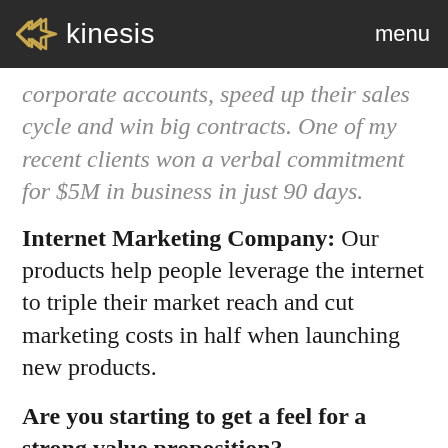kinesis  menu
corporate accounts, speed up their sales cycle and win big contracts. One of my recent clients won a verbal commitment for $5M in business in just 90 days.
Internet Marketing Company: Our products help people leverage the internet to triple their market reach and cut marketing costs in half when launching new products.
Are you starting to get a feel for a strong value proposition?
How Do I Write My Value